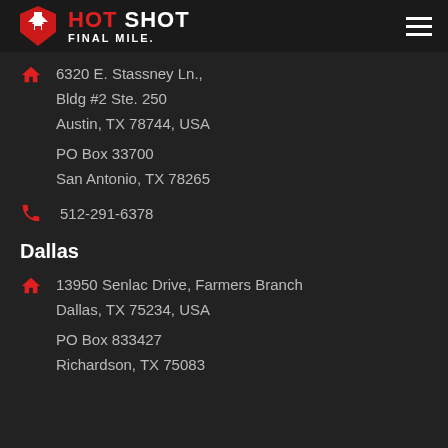[Figure (logo): Hot Shot Final Mile logo with red/white shield icon and text]
6320 E. Stassney Ln., Bldg #2 Ste. 250 Austin, TX 78744, USA
PO Box 33700 San Antonio, TX 78265
512-291-6378
Dallas
13950 Senlac Drive, Farmers Branch Dallas, TX 75234, USA
PO Box 833427 Richardson, TX 75083